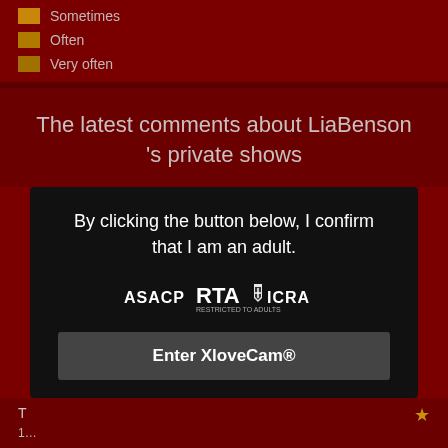Sometimes
Often
Very often
The latest comments about LiaBenson 's private shows
By clicking the button below, I confirm that I am an adult.
[Figure (logo): ASACP RTA ICRA logos]
Enter XloveCam®
T ... ★
fofo200
15/04/2022 03:52